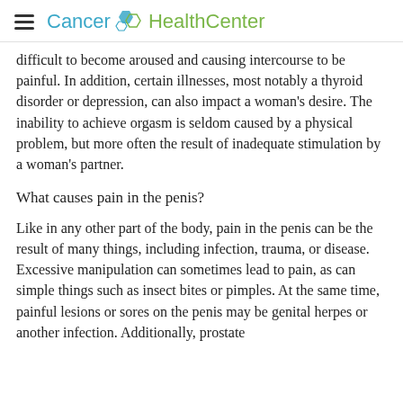Cancer HealthCenter
difficult to become aroused and causing intercourse to be painful. In addition, certain illnesses, most notably a thyroid disorder or depression, can also impact a woman's desire. The inability to achieve orgasm is seldom caused by a physical problem, but more often the result of inadequate stimulation by a woman's partner.
What causes pain in the penis?
Like in any other part of the body, pain in the penis can be the result of many things, including infection, trauma, or disease. Excessive manipulation can sometimes lead to pain, as can simple things such as insect bites or pimples. At the same time, painful lesions or sores on the penis may be genital herpes or another infection. Additionally, prostate